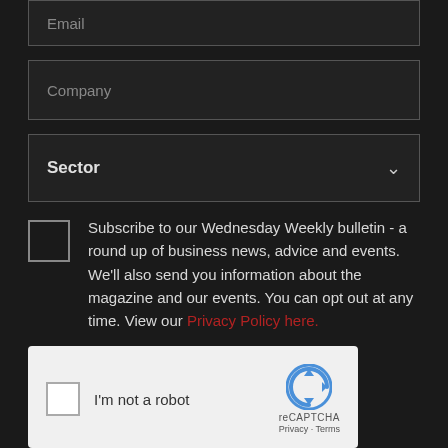Email
Company
Sector
Subscribe to our Wednesday Weekly bulletin - a round up of business news, advice and events. We'll also send you information about the magazine and our events. You can opt out at any time. View our Privacy Policy here.
[Figure (screenshot): reCAPTCHA widget with checkbox labeled 'I'm not a robot' and reCAPTCHA logo with Privacy and Terms links]